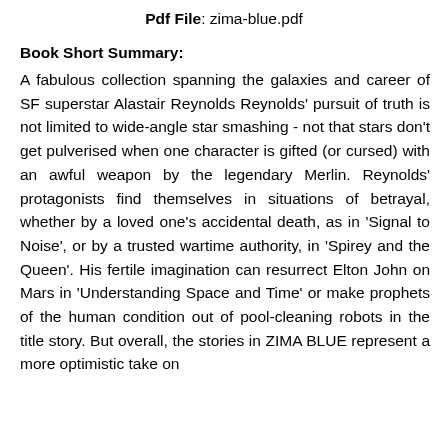Pdf File: zima-blue.pdf
Book Short Summary:
A fabulous collection spanning the galaxies and career of SF superstar Alastair Reynolds Reynolds' pursuit of truth is not limited to wide-angle star smashing - not that stars don't get pulverised when one character is gifted (or cursed) with an awful weapon by the legendary Merlin. Reynolds' protagonists find themselves in situations of betrayal, whether by a loved one's accidental death, as in 'Signal to Noise', or by a trusted wartime authority, in 'Spirey and the Queen'. His fertile imagination can resurrect Elton John on Mars in 'Understanding Space and Time' or make prophets of the human condition out of pool-cleaning robots in the title story. But overall, the stories in ZIMA BLUE represent a more optimistic take on